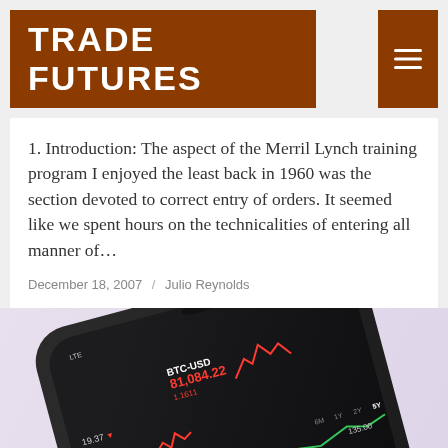TRADE FUTURES
1. Introduction: The aspect of the Merril Lynch training program I enjoyed the least back in 1960 was the section devoted to correct entry of orders. It seemed like we spent hours on the technicalities of entering all manner of…
December 18, 2007  /  Julio Reynolds
[Figure (photo): Close-up photo of a dark smartphone displaying trading app with BTC-USD price 81,084.22 and BNB-USD 814.88, with stock charts for AAPL and other securities showing green and red candlestick lines, viewed at an angle on a light purple background]